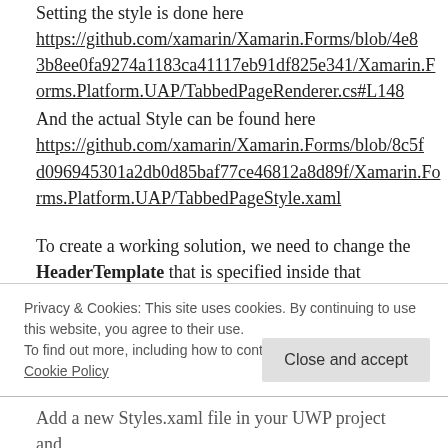Setting the style is done here https://github.com/xamarin/Xamarin.Forms/blob/4e83b8ee0fa9274a1183ca41117eb91df825e341/Xamarin.Forms.Platform.UAP/TabbedPageRenderer.cs#L148
And the actual Style can be found here https://github.com/xamarin/Xamarin.Forms/blob/8c5fd096945301a2db0d85baf77ce46812a8d89f/Xamarin.Forms.Platform.UAP/TabbedPageStyle.xaml
To create a working solution, we need to change the HeaderTemplate that is specified inside that TabbedPageStyle. Normally we would just drop in a new Style with the same name inside our UWP
Privacy & Cookies: This site uses cookies. By continuing to use this website, you agree to their use.
To find out more, including how to control cookies, see here: Cookie Policy
Add a new Styles.xaml file in your UWP project and